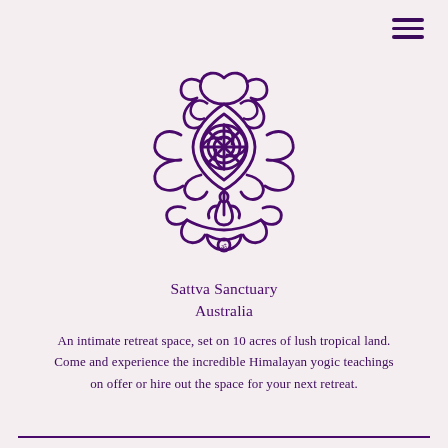[Figure (logo): Ornate mandala/yantra logo in deep purple, featuring scrollwork, lotus petals, a central Sri Yantra circle, a meditating figure below, and OM symbol at the base, forming a decorative spiritual emblem for Sattva Sanctuary Australia]
Sattva Sanctuary Australia
An intimate retreat space, set on 10 acres of lush tropical land. Come and experience the incredible Himalayan yogic teachings on offer or hire out the space for your next retreat.